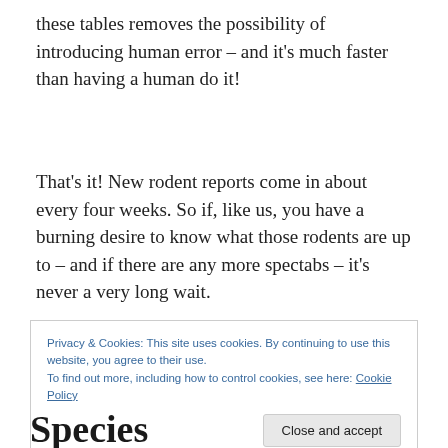these tables removes the possibility of introducing human error – and it's much faster than having a human do it!
That's it! New rodent reports come in about every four weeks. So if, like us, you have a burning desire to know what those rodents are up to – and if there are any more spectabs – it's never a very long wait.
Privacy & Cookies: This site uses cookies. By continuing to use this website, you agree to their use. To find out more, including how to control cookies, see here: Cookie Policy
Close and accept
Species